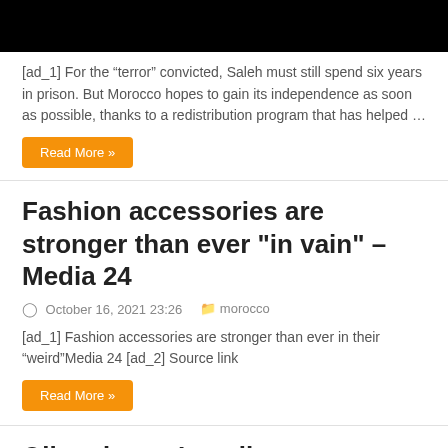[Figure (photo): Black image/banner at top of page]
[ad_1] For the “terror” convicted, Saleh must still spend six years in prison. But Morocco hopes to gain its independence as soon as possible, thanks to a redistribution program that has helped …
Read More »
Fashion accessories are stronger than ever "in vain" – Media 24
○ October 16, 2021 23:26   📁 morocco
[ad_1] Fashion accessories are stronger than ever in their “weird”Media 24 [ad_2] Source link
Read More »
Oil and gas: Israeli company receives proportionate petroleum river ration permit